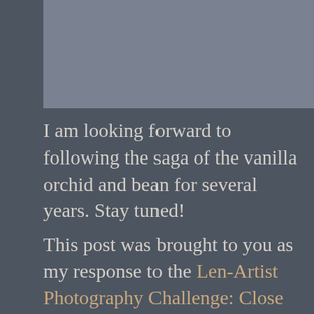[Figure (photo): Gray rectangular image placeholder at the top of the page]
I am looking forward to following the saga of the vanilla orchid and bean for several years. Stay tuned!
This post was brought to you as my response to the Len-Artist Photography Challenge: Close and Closer. I had so much fun thinking about the tension between